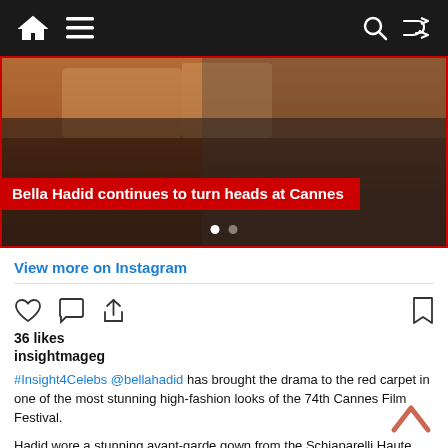Navigation bar with home, menu, search, shuffle icons
[Figure (photo): Photo of Bella Hadid at Cannes red carpet, with red overlay title 'Bella Hadid continues to turn heads at Cannes' and carousel dots]
View more on Instagram
[Figure (infographic): Instagram action icons: heart (like), comment bubble, share arrow, and bookmark]
36 likes
insightmageg
#Insight4Celebs @bellahadid has brought the drama to the red carpet in one of the most stunning high-fashion looks of the 74th Cannes Film Festival.
Hadid wore a stunning avant-garde gown from the Schiaparelli Haute Couture.
#BellaHadid #BellaHadidCannes #Cannes2021 #Cannes